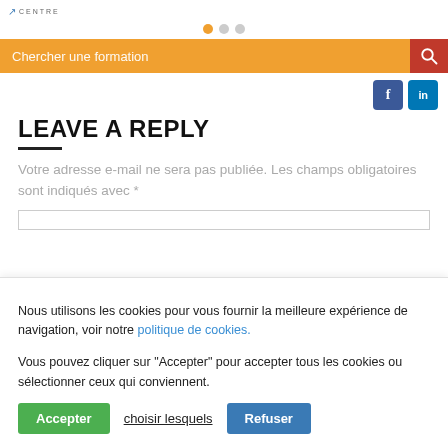CENTRE
[Figure (other): Pagination dots: one orange filled circle, two gray circles]
[Figure (other): Orange search bar with text 'Chercher une formation' and red search icon button]
[Figure (other): Social media buttons: Facebook (blue) and LinkedIn (light blue)]
LEAVE A REPLY
Votre adresse e-mail ne sera pas publiée. Les champs obligatoires sont indiqués avec *
Nous utilisons les cookies pour vous fournir la meilleure expérience de navigation, voir notre politique de cookies.

Vous pouvez cliquer sur "Accepter" pour accepter tous les cookies ou sélectionner ceux qui conviennent.
Accepter   choisir lesquels   Refuser